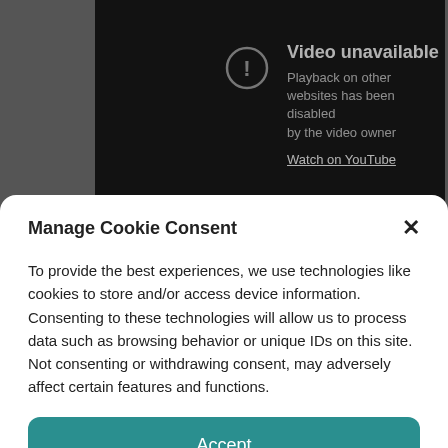[Figure (screenshot): YouTube video embed showing 'Video unavailable' message with warning icon, text 'Playback on other websites has been disabled by the video owner', and a 'Watch on YouTube' link, on dark background.]
Manage Cookie Consent
To provide the best experiences, we use technologies like cookies to store and/or access device information. Consenting to these technologies will allow us to process data such as browsing behavior or unique IDs on this site. Not consenting or withdrawing consent, may adversely affect certain features and functions.
Accept
Privacy Policy   About Us